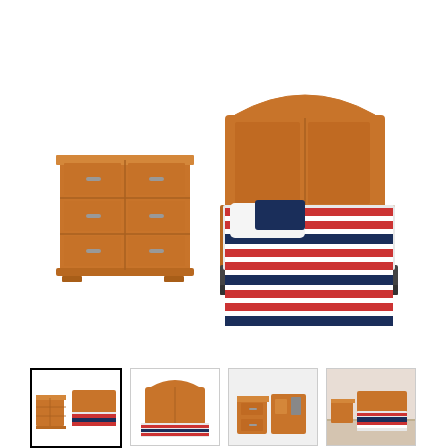[Figure (photo): Product photo of a bedroom set including a wooden dresser with 6 drawers on the left and a bed with a wooden headboard and colorful striped red, navy and white bedding on the right.]
[Figure (photo): Thumbnail 1 (selected/active): Small version of the main bedroom set product photo.]
[Figure (photo): Thumbnail 2: Small photo of the headboard/bed.]
[Figure (photo): Thumbnail 3: Small photo showing nightstand or additional furniture piece.]
[Figure (photo): Thumbnail 4: Small photo of a styled room with the bedroom furniture.]